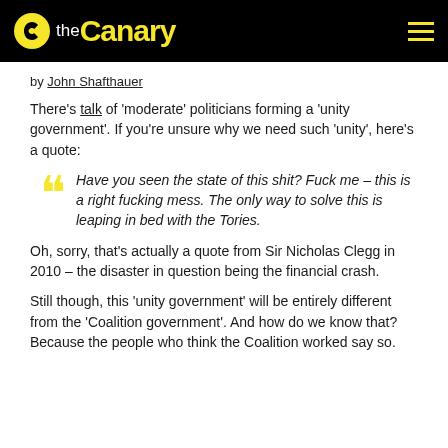the Canary
by John Shafthauer
There’s talk of ‘moderate’ politicians forming a ‘unity government’. If you’re unsure why we need such ‘unity’, here’s a quote:
Have you seen the state of this shit? Fuck me – this is a right fucking mess. The only way to solve this is leaping in bed with the Tories.
Oh, sorry, that’s actually a quote from Sir Nicholas Clegg in 2010 – the disaster in question being the financial crash.
Still though, this ‘unity government’ will be entirely different from the ‘Coalition government’. And how do we know that? Because the people who think the Coalition worked say so.